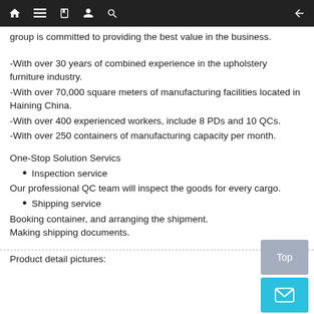[navigation bar with home, menu, book, profile, search icons and back arrow]
group is committed to providing the best value in the business.
-With over 30 years of combined experience in the upholstery furniture industry.
-With over 70,000 square meters of manufacturing facilities located in Haining China.
-With over 400 experienced workers, include 8 PDs and 10 QCs.
-With over 250 containers of manufacturing capacity per month.
One-Stop Solution Servics
Inspection service
Our professional QC team will inspect the goods for every cargo.
Shipping service
Booking container, and arranging the shipment.
Making shipping documents.
Product detail pictures: